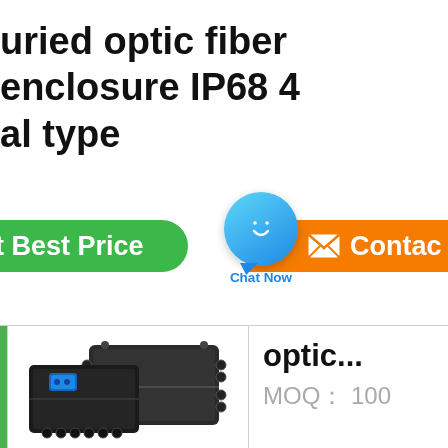uried optic fiber enclosure IP68 4 al type
et Best Price
Chat Now
Contac
[Figure (photo): Two black fiber optic enclosure boxes with blue connectors and multiple cable entry ports]
optic...
MOQ： 100